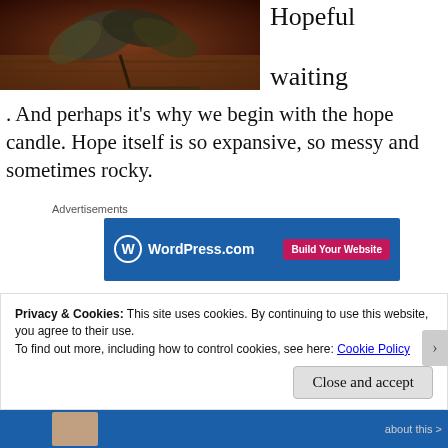[Figure (photo): Photo of metallic leaf decoration on a wooden surface, dark reddish-brown tones]
Hopeful waiting
. And perhaps it's why we begin with the hope candle. Hope itself is so expansive, so messy and sometimes rocky.
Advertisements
[Figure (screenshot): WordPress.com advertisement banner with blue background showing WordPress logo and 'Build Your Website' pink button]
Hope can embody a deep anticipation but it can also
Privacy & Cookies: This site uses cookies. By continuing to use this website, you agree to their use.
To find out more, including how to control cookies, see here: Cookie Policy
Close and accept